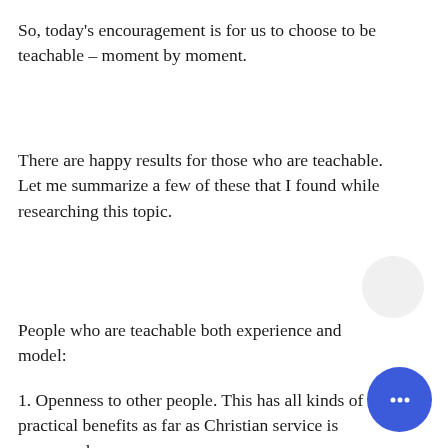So, today's encouragement is for us to choose to be teachable – moment by moment.
There are happy results for those who are teachable. Let me summarize a few of these that I found while researching this topic.
People who are teachable both experience and model:
1. Openness to other people. This has all kinds of practical benefits as far as Christian service is concerned.
2. Self-acceptance and a desire to grow personally and spiritually, and to connect in relationships with other people.